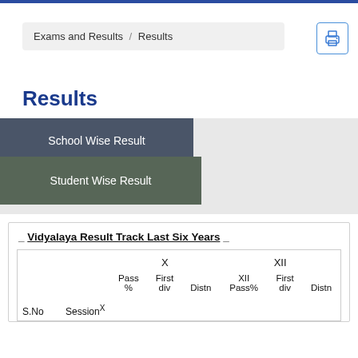Exams and Results / Results
Results
School Wise Result
Student Wise Result
_ Vidyalaya Result Track Last Six Years _
| S.No | Session | X Pass% | X First div | X Distn | XII Pass% | XII First div | XII Distn |
| --- | --- | --- | --- | --- | --- | --- | --- |